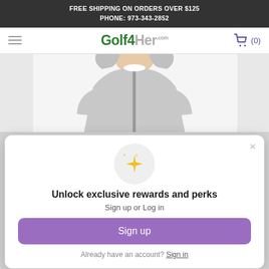FREE SHIPPING ON ORDERS OVER $125
PHONE: 973-343-2852
[Figure (logo): Golf4Her.com logo in green and gray, with a shopping cart icon and (0) on the right]
[Figure (photo): Partial view of a person wearing a gray zip-up hoodie jacket]
[Figure (infographic): Loyalty/rewards popup modal with sparkle icon, headline, sign up button, and sign in link]
Unlock exclusive rewards and perks
Sign up or Log in
Sign up
Already have an account? Sign in